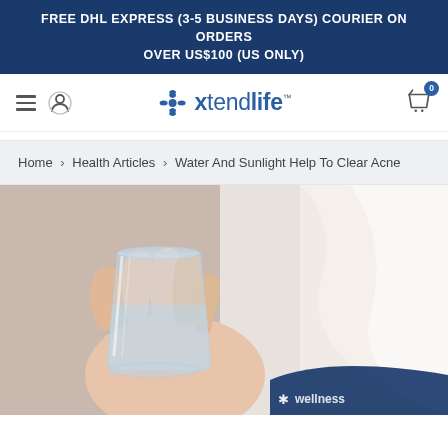FREE DHL EXPRESS (3-5 BUSINESS DAYS) COURIER ON ORDERS OVER US$100 (US ONLY)
[Figure (logo): Xtendlife logo with snowflake/asterisk icon and brand name, navigation hamburger menu, user icon, and cart icon with badge showing 0]
Home › Health Articles › Water And Sunlight Help To Clear Acne
[Figure (photo): Close-up photo of a hand holding a clear glass of water, with blurred white fabric/towel in background. A blue wellness banner is partially visible at the bottom right corner.]